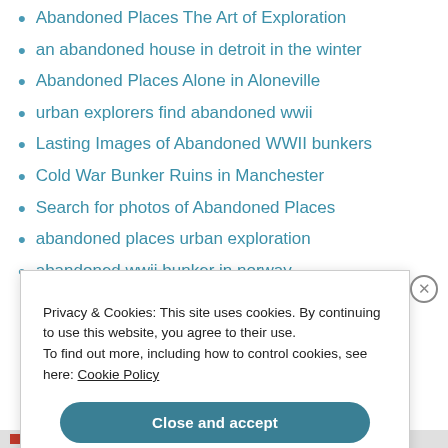Abandoned Places The Art of Exploration
an abandoned house in detroit in the winter
Abandoned Places Alone in Aloneville
urban explorers find abandoned wwii
Lasting Images of Abandoned WWII bunkers
Cold War Bunker Ruins in Manchester
Search for photos of Abandoned Places
abandoned places urban exploration
abandoned wwii bunker in norway
Privacy & Cookies: This site uses cookies. By continuing to use this website, you agree to their use.
To find out more, including how to control cookies, see here: Cookie Policy
Close and accept